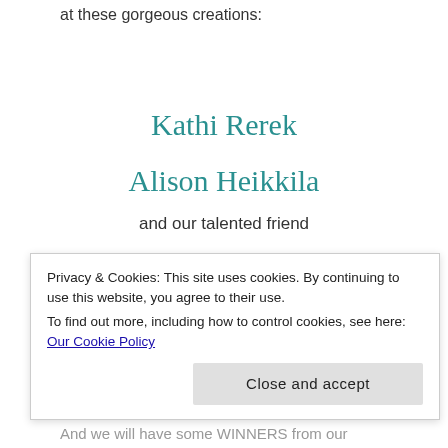at these gorgeous creations:
Kathi Rerek
Alison Heikkila
and our talented friend
Sharon White
Privacy & Cookies: This site uses cookies. By continuing to use this website, you agree to their use.
To find out more, including how to control cookies, see here: Our Cookie Policy
Close and accept
And we will have some WINNERS from our